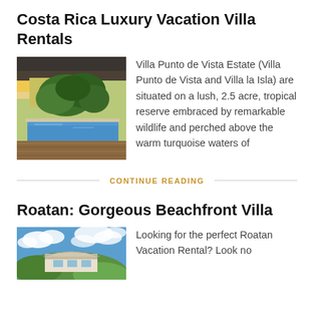Costa Rica Luxury Vacation Villa Rentals
[Figure (photo): Outdoor photo showing a tropical villa with a pool and lush green trees, wooden deck visible in foreground]
Villa Punto de Vista Estate (Villa Punto de Vista and Villa la Isla) are situated on a lush, 2.5 acre, tropical reserve embraced by remarkable wildlife and perched above the warm turquoise waters of
CONTINUE READING
Roatan: Gorgeous Beachfront Villa
[Figure (photo): Outdoor photo of a beachfront villa with blue sky and clouds]
Looking for the perfect Roatan Vacation Rental? Look no